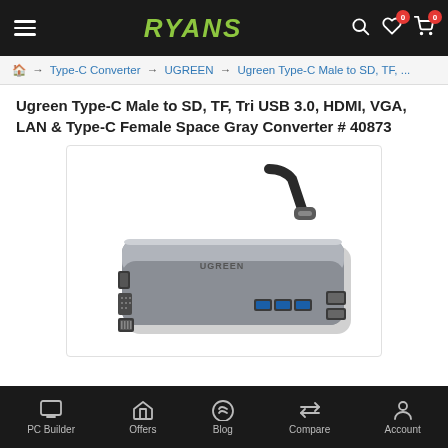RYANS
Type-C Converter → UGREEN → Ugreen Type-C Male to SD, TF, ...
Ugreen Type-C Male to SD, TF, Tri USB 3.0, HDMI, VGA, LAN & Type-C Female Space Gray Converter # 40873
[Figure (photo): Ugreen USB-C hub/converter in space gray color showing HDMI, VGA, LAN, USB 3.0 and SD/TF card ports with a USB-C cable on top]
PC Builder | Offers | Blog | Compare | Account